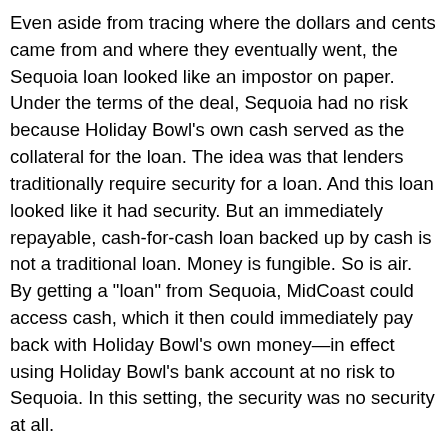Even aside from tracing where the dollars and cents came from and where they eventually went, the Sequoia loan looked like an impostor on paper. Under the terms of the deal, Sequoia had no risk because Holiday Bowl's own cash served as the collateral for the loan. The idea was that lenders traditionally require security for a loan. And this loan looked like it had security. But an immediately repayable, cash-for-cash loan backed up by cash is not a traditional loan. Money is fungible. So is air. By getting a "loan" from Sequoia, MidCoast could access cash, which it then could immediately pay back with Holiday Bowl's own money—in effect using Holiday Bowl's bank account at no risk to Sequoia. In this setting, the security was no security at all.
It gets worse. The parties didn't sign most of the loan documents, behavior that does not accord with the way people usually transfer large pots of money. Interest and periodic payments are a classic hallmark of real loans. See Roth Steel Tube Co. v. Comm'r, 800